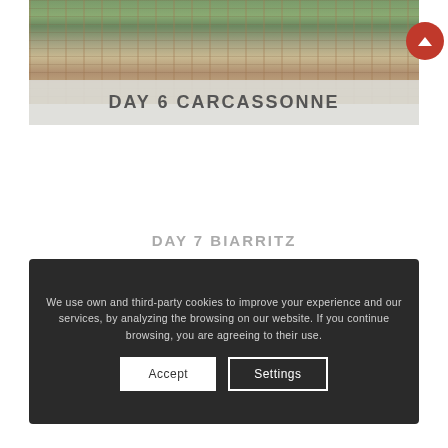[Figure (photo): Aerial/rooftop view of Carcassonne medieval buildings with terracotta roof tiles and green trees]
DAY 6 CARCASSONNE
We use own and third-party cookies to improve your experience and our services, by analyzing the browsing on our website. If you continue browsing, you are agreeing to their use.